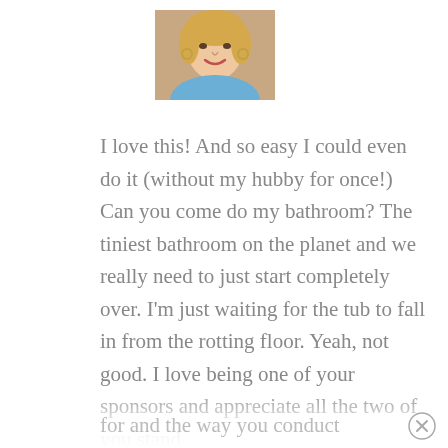[Figure (photo): Profile photo of a blonde woman smiling, wearing a blue top and hoop earrings]
I love this! And so easy I could even do it (without my hubby for once!) Can you come do my bathroom? The tiniest bathroom on the planet and we really need to just start completely over. I'm just waiting for the tub to fall in from the rotting floor. Yeah, not good. I love being one of your sponsors and appreciate all the two of you stand for and the way you conduct